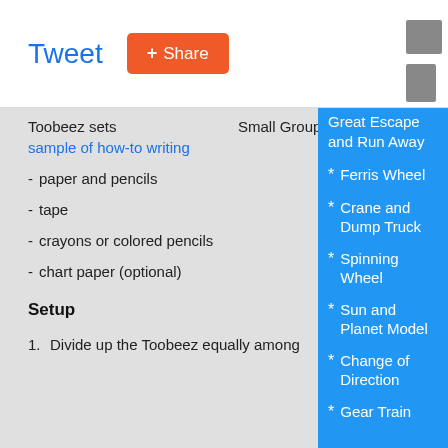Tweet | Share
Toobeez sets sample of how-to writing
Small Group
paper and pencils
tape
crayons or colored pencils
chart paper (optional)
Setup
Divide up the Toobeez equally among
Great Escape and Run Away
Ferris Wheel
Crane and Dump Truck
Spinning Wheel
Sun and Planet Model
Change of Direction
Gear Train